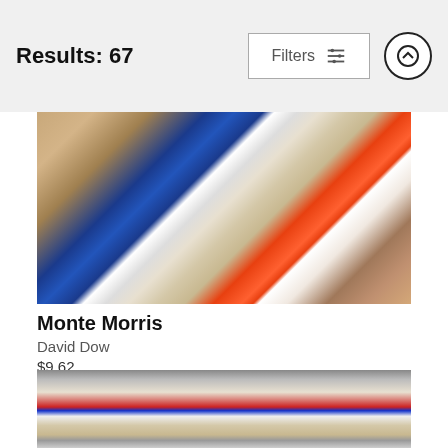Results: 67
Filters
[Figure (photo): Overhead/bird's eye view of NBA basketball game action near the basket, player wearing blue Denver Nuggets jersey number 11 (Monte Morris) reaching for ball near orange rim and net]
Monte Morris
David Dow
$9.62
[Figure (photo): Wide overhead view of NBA basketball court showing multiple players during a game, with NBA logo visible at center court]